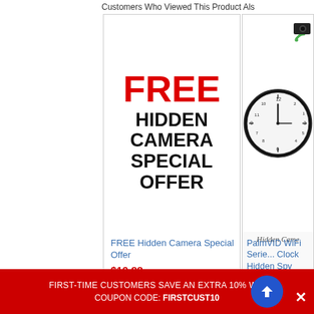Customers Who Viewed This Product Als
[Figure (screenshot): FREE Hidden Camera Special Offer product card with red FREE text and black bold HIDDEN CAMERA SPECIAL OFFER text]
FREE Hidden Camera Special Offer
$19.88
[Figure (photo): PalmVID WiFi Series clock hidden spy camera product image]
PalmVID WiFi Series Clock Hidden Spy Camera
$249.95 $198.
Related Products
[Figure (photo): Built-in DVR Hidden Camera clock product image on blue background]
[Figure (photo): Hidden Camera clock product image]
FIRST-TIME CUSTOMERS SAVE AN EXTRA 10% WIT COUPON CODE: FIRSTCUST10